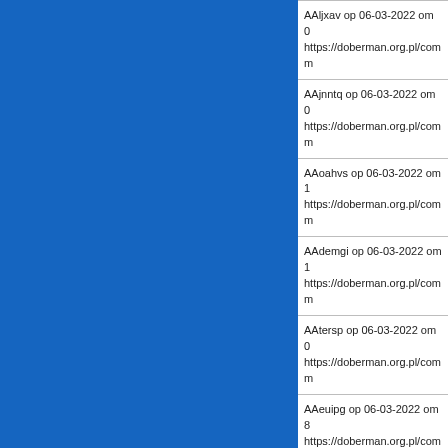[Figure (other): Blue rectangle panel on the left side of the page]
AAljxav op 06-03-2022 om 0
https://doberman.org.pl/comm
AAjnntq op 06-03-2022 om 0
https://doberman.org.pl/comm
AAoahvs op 06-03-2022 om 1
https://doberman.org.pl/comm
AAdemgi op 06-03-2022 om 1
https://doberman.org.pl/comm
AAtersp op 06-03-2022 om 0
https://doberman.org.pl/comm
AAeuipg op 06-03-2022 om 8
https://doberman.org.pl/comm
AAwzorv op 06-03-2022 om 1
https://doberman.org.pl/comm
AArpiyv op 06-03-2022 om 0
https://doberman.org.pl/comm
AAjadgi op 06-03-2022 om 0
https://doberman.org.pl/comm
AAgatin op 06-03-2022 om 0
https://doberman.org.pl/comm